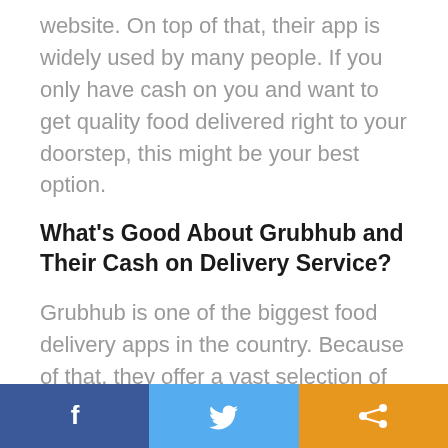website. On top of that, their app is widely used by many people. If you only have cash on you and want to get quality food delivered right to your doorstep, this might be your best option.
What's Good About Grubhub and Their Cash on Delivery Service?
Grubhub is one of the biggest food delivery apps in the country. Because of that, they offer a vast selection of restaurants and food
[Figure (other): Social sharing bar with Facebook, Twitter, and share buttons]